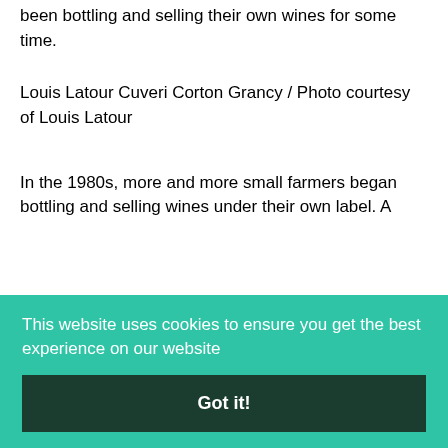been bottling and selling their own wines for some time.
Louis Latour Cuveri Corton Grancy / Photo courtesy of Louis Latour
In the 1980s, more and more small farmers began bottling and selling wines under their own label. A
This website uses cookies to ensure you get the best experience on our website
Got it!